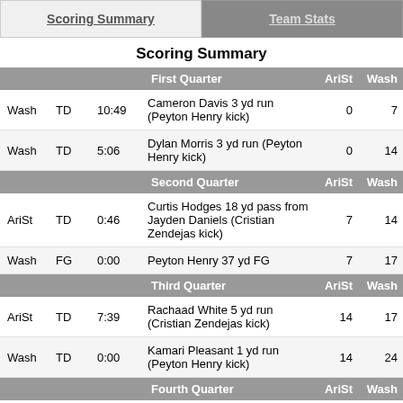Scoring Summary | Team Stats
Scoring Summary
|  |  |  | First Quarter | AriSt | Wash |
| --- | --- | --- | --- | --- | --- |
| Wash | TD | 10:49 | Cameron Davis 3 yd run (Peyton Henry kick) | 0 | 7 |
| Wash | TD | 5:06 | Dylan Morris 3 yd run (Peyton Henry kick) | 0 | 14 |
|  |  |  | Second Quarter | AriSt | Wash |
| AriSt | TD | 0:46 | Curtis Hodges 18 yd pass from Jayden Daniels (Cristian Zendejas kick) | 7 | 14 |
| Wash | FG | 0:00 | Peyton Henry 37 yd FG | 7 | 17 |
|  |  |  | Third Quarter | AriSt | Wash |
| AriSt | TD | 7:39 | Rachaad White 5 yd run (Cristian Zendejas kick) | 14 | 17 |
| Wash | TD | 0:00 | Kamari Pleasant 1 yd run (Peyton Henry kick) | 14 | 24 |
|  |  |  | Fourth Quarter | AriSt | Wash |
| AriSt | TD | 5:46 | Jayden Daniels 4 yd run (Cristian Zendejas kick) | 21 | 24 |
| AriSt | TD | 1:11 | Rachaad White 10 yd run (Cristian Zendejas kick) | 28 | 24 |